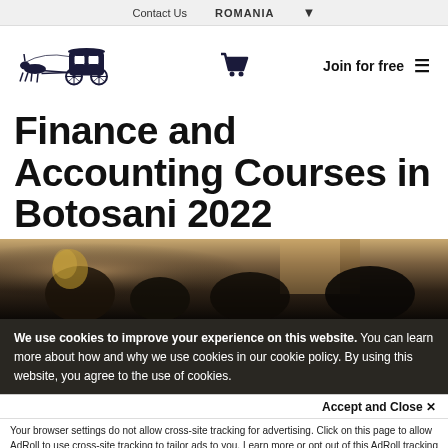Contact Us   ROMANIA   ▼
[Figure (logo): Horse-drawn carriage logo (dark navy illustration)]
Finance and Accounting Courses in Botosani 2022
[Figure (photo): Group of people in a room, partially visible, darkened hero image]
We use cookies to improve your experience on this website. You can learn more about how and why we use cookies in our cookie policy. By using this website, you agree to the use of cookies.
Accept and Close ✕
Your browser settings do not allow cross-site tracking for advertising. Click on this page to allow AdRoll to use cross-site tracking to tailor ads to you. Learn more or opt out of this AdRoll tracking by clicking here. This message only appears once.